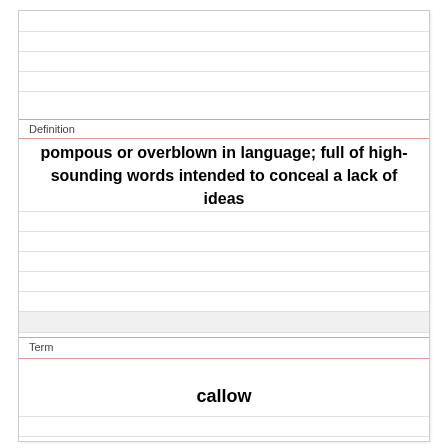Definition
pompous or overblown in language; full of high-sounding words intended to conceal a lack of ideas
Term
callow